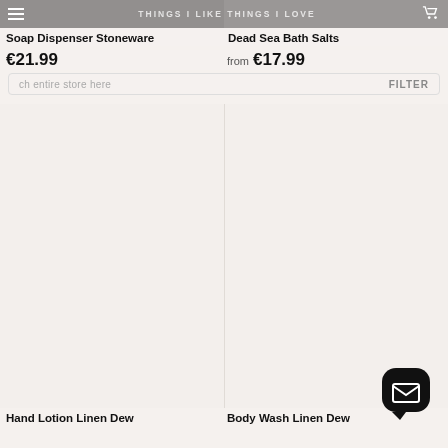THINGS I LIKE THINGS I LOVE
Soap Dispenser Stoneware
Dead Sea Bath Salts
€21.99
from €17.99
[Figure (screenshot): Product grid showing two empty product image placeholders (beige/cream background) for Hand Lotion Linen Dew and Body Wash Linen Dew]
Hand Lotion Linen Dew
Body Wash Linen Dew